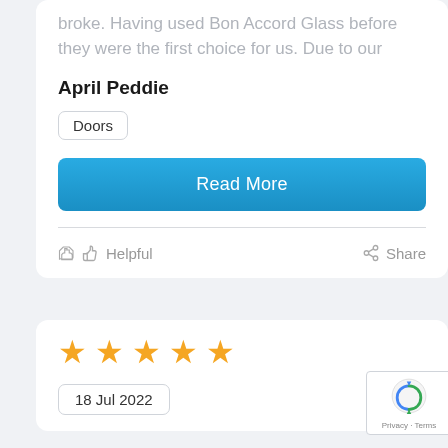broke. Having used Bon Accord Glass before they were the first choice for us. Due to our
April Peddie
Doors
Read More
Helpful
Share
[Figure (other): Five gold/yellow star rating icons]
18 Jul 2022